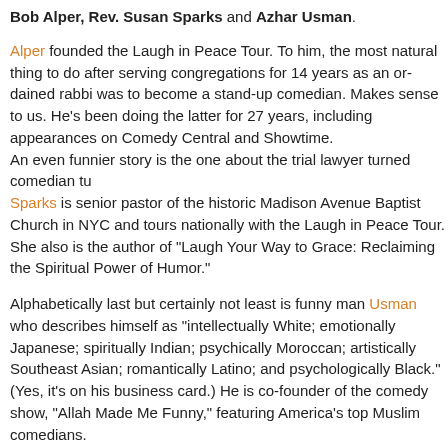Bob Alper, Rev. Susan Sparks and Azhar Usman.
Alper founded the Laugh in Peace Tour. To him, the most natural thing to do after serving congregations for 14 years as an ordained rabbi was to become a stand-up comedian. Makes sense to us. He's been doing the latter for 27 years, including appearances on Comedy Central and Showtime. An even funnier story is the one about the trial lawyer turned comedian turned pastor. Sparks is senior pastor of the historic Madison Avenue Baptist Church in NYC and tours nationally with the Laugh in Peace Tour. She also is the author of "Laugh Your Way to Grace: Reclaiming the Spiritual Power of Humor."
Alphabetically last but certainly not least is funny man Usman who describes himself as "intellectually White; emotionally Japanese; spiritually Indian; psychically Moroccan; artistically Southeast Asian; romantically Latino; and psychologically Black." (Yes, it's on his business card.) He is co-founder of the comedy show, "Allah Made Me Funny," featuring America's top Muslim comedians.
Join us for this very special Idea Open event! Click here to get your tickets! Doors open at 6:00 p.m., and the show begins at 7:00 p.m. Tickets are $10, or $5 with a student ID. All tickets include complimentary valet parking. Ages 11 and up are welcome. Come hungry for light appetizers and a chance to enter the Idea Open and submit your idea on how to better live and work together across cultures and faiths in your community. Your winning idea...